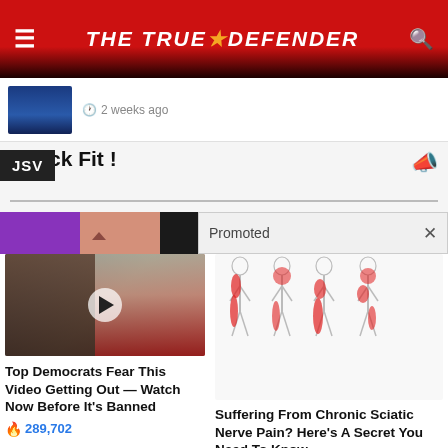THE TRUE DEFENDER
[Figure (screenshot): Thumbnail of a man in suit, partially visible, with timestamp '2 weeks ago']
2 weeks ago
Quick Fit !
[Figure (photo): Promoted advertisement banner with purple and skin-tone gradient]
Promoted
[Figure (photo): Photo of Melania Trump and Donald Trump with play button overlay]
Top Democrats Fear This Video Getting Out — Watch Now Before It's Banned
289,702
[Figure (illustration): Medical illustration showing four body silhouettes with red areas indicating sciatic nerve pain locations]
Suffering From Chronic Sciatic Nerve Pain? Here's A Secret You Need To Know
88,717